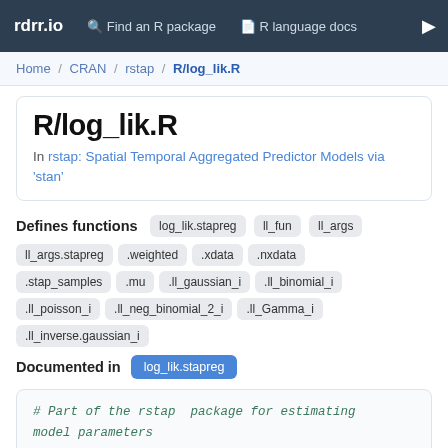rdrr.io   Find an R package   R language docs
Home / CRAN / rstap / R/log_lik.R
R/log_lik.R
In rstap: Spatial Temporal Aggregated Predictor Models via 'stan'
Defines functions: log_lik.stapreg  ll_fun  ll_args  ll_args.stapreg  .weighted  .xdata  .nxdata  .stap_samples  .mu  .ll_gaussian_i  .ll_binomial_i  .ll_poisson_i  .ll_neg_binomial_2_i  .ll_Gamma_i  .ll_inverse.gaussian_i
Documented in log_lik.stapreg
# Part of the rstap  package for estimating
model parameters